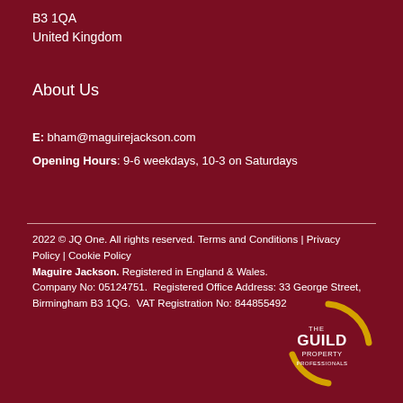B3 1QA
United Kingdom
About Us
E: bham@maguirejackson.com
Opening Hours: 9-6 weekdays, 10-3 on Saturdays
2022 © JQ One. All rights reserved. Terms and Conditions | Privacy Policy | Cookie Policy
Maguire Jackson. Registered in England & Wales.
Company No: 05124751.  Registered Office Address: 33 George Street, Birmingham B3 1QG.  VAT Registration No: 844855492
[Figure (logo): The Guild Property Professionals logo — gold arc curves around white text reading THE GUILD PROPERTY PROFESSIONALS on dark red background]